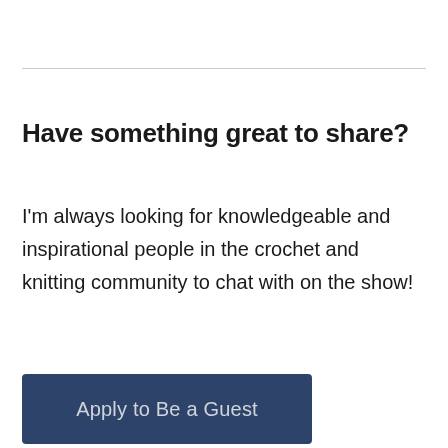Have something great to share?
I'm always looking for knowledgeable and inspirational people in the crochet and knitting community to chat with on the show!
Apply to Be a Guest